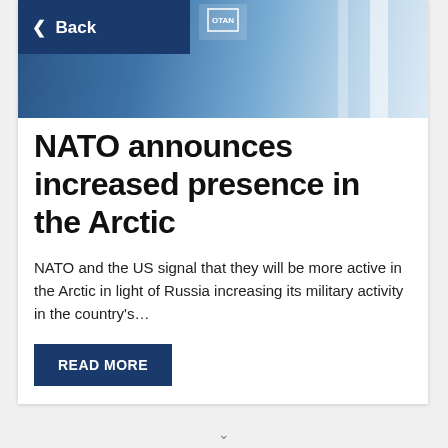[Figure (photo): NATO-branded photo with blue background and architectural/flag elements, overlaid with a dark blue Back navigation button in the upper left]
< Back
NATO announces increased presence in the Arctic
NATO and the US signal that they will be more active in the Arctic in light of Russia increasing its military activity in the country's…
READ MORE